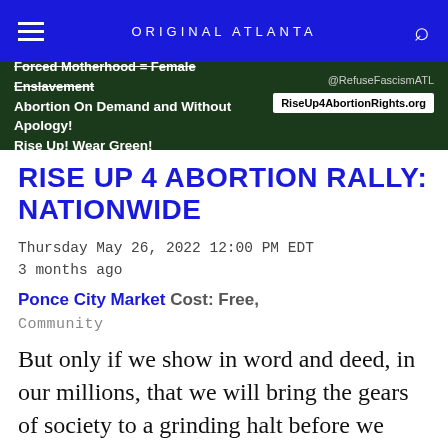ORIGINAL ATLANTA
[Figure (photo): Green banner for Rise Up 4 Abortion Rights rally with text: Forced Motherhood = Female Enslavement, Abortion On Demand and Without Apology! Rise Up! Wear Green! @RefuseFascismATL RiseUp4AbortionRights.org]
RISE UP 4 ABORTION RALLY: NATIONWIDE
Thursday May 26, 2022 12:00 PM EDT
3 months ago
Ponce City Market Cost: Free,
Community
But only if we show in word and deed, in our millions, that we will bring the gears of society to a grinding halt before we allow the Supreme Court to deny abortion rights...